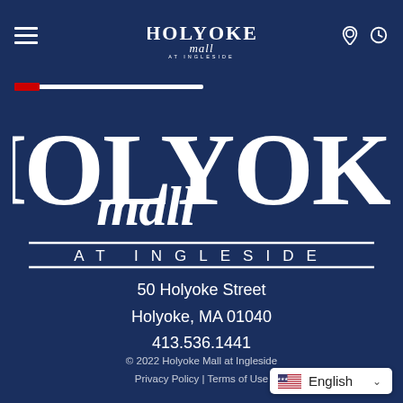[Figure (logo): Holyoke Mall at Ingleside top navigation logo (small version)]
[Figure (logo): Holyoke Mall at Ingleside large main logo centered on dark navy background — serif block letters HOLYOKE with script 'mall' and AT INGLESIDE below]
50 Holyoke Street
Holyoke, MA 01040
413.536.1441
© 2022 Holyoke Mall at Ingleside
Privacy Policy | Terms of Use
English